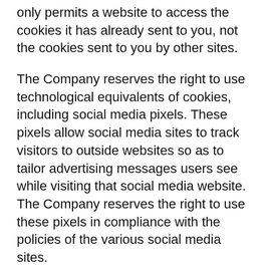only permits a website to access the cookies it has already sent to you, not the cookies sent to you by other sites.
The Company reserves the right to use technological equivalents of cookies, including social media pixels. These pixels allow social media sites to track visitors to outside websites so as to tailor advertising messages users see while visiting that social media website. The Company reserves the right to use these pixels in compliance with the policies of the various social media sites.
Third Party Use Of Cookies
Some content or applications, including